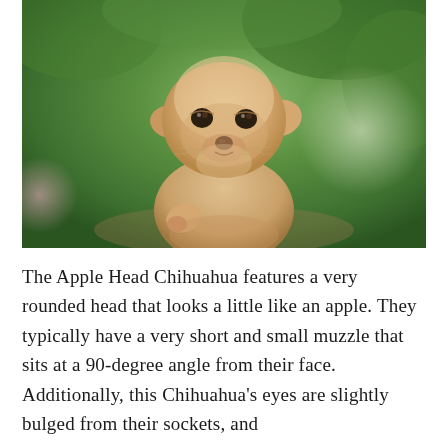[Figure (photo): Close-up photo of an Apple Head Chihuahua dog with a rounded head, short muzzle, and slightly squinting eyes, set against a blurred green bokeh background with a pink bokeh circle on the left.]
The Apple Head Chihuahua features a very rounded head that looks a little like an apple. They typically have a very short and small muzzle that sits at a 90-degree angle from their face. Additionally, this Chihuahua's eyes are slightly bulged from their sockets, and the...